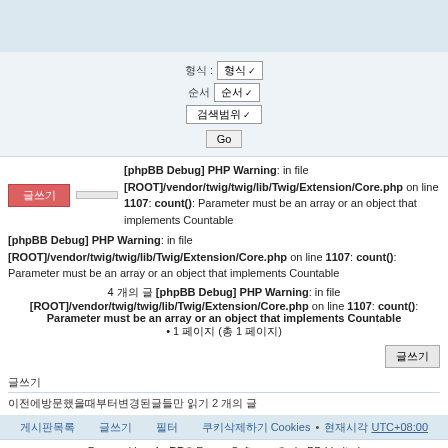[Figure (screenshot): Top navigation bar with light blue background]
형식 : [dropdown] 순서 [dropdown] [dropdown] Go
[phpBB Debug] PHP Warning: in file [ROOT]/vendor/twig/twig/lib/Twig/Extension/Core.php on line 1107: count(): Parameter must be an array or an object that implements Countable
[phpBB Debug] PHP Warning: in file [ROOT]/vendor/twig/twig/lib/Twig/Extension/Core.php on line 1107: count(): Parameter must be an array or an object that implements Countable
4 개의 글 [phpBB Debug] PHP Warning: in file [ROOT]/vendor/twig/twig/lib/Twig/Extension/Core.php on line 1107: count(): Parameter must be an array or an object that implements Countable
• 1 페이지 (총 1 페이지)
글쓰기
글쓰기
이전에방문했을때부터변경된글들만 읽기 2 개의 글
게시판목록   글쓰기   필터   Cookies 삭제하기 • 현재시각 UTC+08:00
Powered by phpBB® Forum Software © phpBB Limited
번역 phpBB Korea 한국어